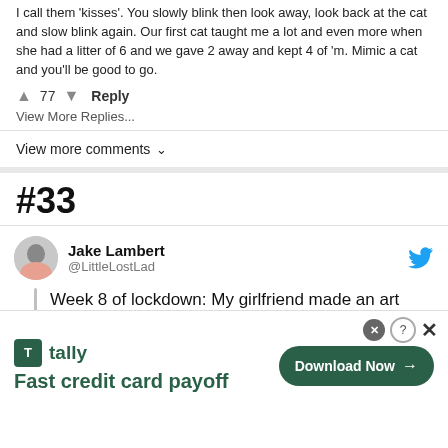I call them 'kisses'. You slowly blink then look away, look back at the cat and slow blink again. Our first cat taught me a lot and even more when she had a litter of 6 and we gave 2 away and kept 4 of 'm. Mimic a cat and you'll be good to go.
↑ 77 ↓   Reply
View More Replies...
View more comments ∨
#33
Jake Lambert @LittleLostLad
Week 8 of lockdown: My girlfriend made an art gallery for our cat.
[Figure (screenshot): Tally advertisement banner with logo, tagline 'Fast credit card payoff', and a green 'Download Now →' button. Also shows close/question icons.]